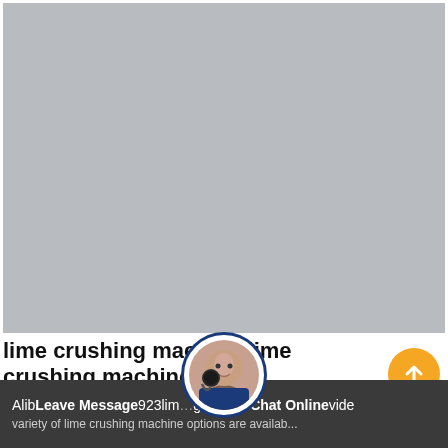[Figure (photo): Large grey placeholder image area for lime crushing machine product photo]
lime crushing machine,lime crushing machine Alib...
Alib... Leave Message ...923lim... g machin... Chat Online ...vide
variety of lime crushing machine options are available to...